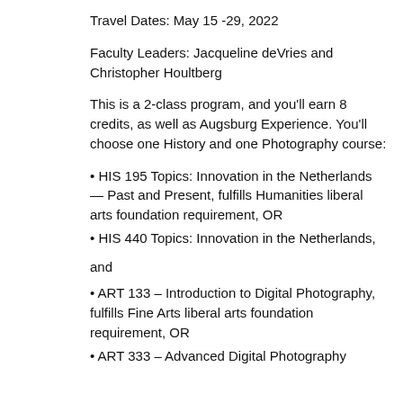Travel Dates: May 15 -29, 2022
Faculty Leaders: Jacqueline deVries and Christopher Houltberg
This is a 2-class program, and you’ll earn 8 credits, as well as Augsburg Experience. You’ll choose one History and one Photography course:
• HIS 195 Topics: Innovation in the Netherlands — Past and Present, fulfills Humanities liberal arts foundation requirement, OR
• HIS 440 Topics: Innovation in the Netherlands,
and
• ART 133 – Introduction to Digital Photography, fulfills Fine Arts liberal arts foundation requirement, OR
• ART 333 – Advanced Digital Photography